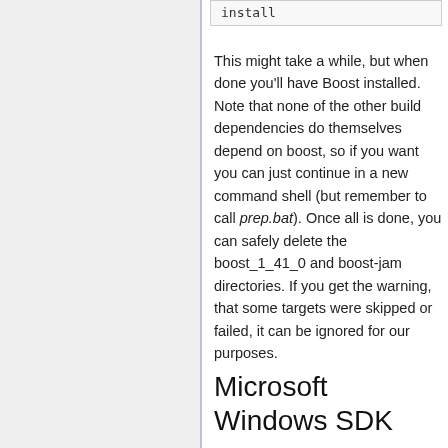[Figure (screenshot): Code box showing 'install' command text]
This might take a while, but when done you'll have Boost installed. Note that none of the other build dependencies do themselves depend on boost, so if you want you can just continue in a new command shell (but remember to call prep.bat). Once all is done, you can safely delete the boost_1_41_0 and boost-jam directories. If you get the warning, that some targets were skipped or failed, it can be ignored for our purposes.
Microsoft Windows SDK